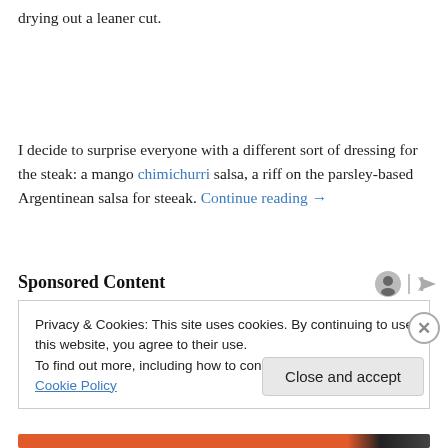drying out a leaner cut.
I decide to surprise everyone with a different sort of dressing for the steak: a mango chimichurri salsa, a riff on the parsley-based Argentinean salsa for steeak. Continue reading →
Sponsored Content
Privacy & Cookies: This site uses cookies. By continuing to use this website, you agree to their use.
To find out more, including how to control cookies, see here: Cookie Policy
Close and accept